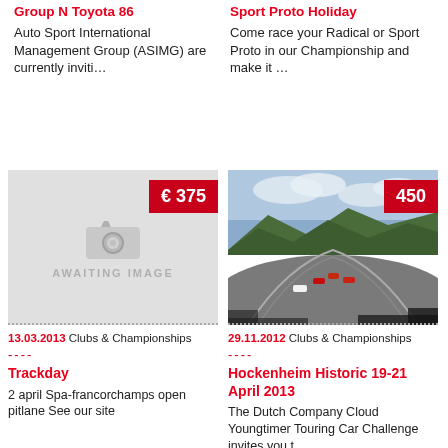Group N Toyota 86
Auto Sport International Management Group (ASIMG) are currently inviti…
Sport Proto Holiday
Come race your Radical or Sport Proto in our Championship and make it …
[Figure (photo): Awaiting image placeholder with camera icon, price tag '€ 375']
13.03.2013 Clubs & Championships
----
Trackday
2 april Spa-francorchamps open pitlane See our site
[Figure (photo): Aerial photo of a racing circuit with multiple racing cars on track, green hills in background, price tag '450']
29.11.2012 Clubs & Championships
----
Hockenheim Historic 19-21 April 2013
The Dutch Company Cloud Youngtimer Touring Car Challenge invites you t…